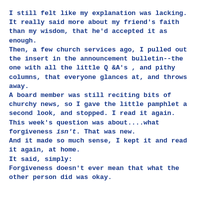I still felt like my explanation was lacking. It really said more about my friend's faith than my wisdom, that he'd accepted it as enough.
Then, a few church services ago, I pulled out the insert in the announcement bulletin--the one with all the little Q &A's , and pithy columns, that everyone glances at, and throws away.

A board member was still reciting bits of churchy news, so I gave the little pamphlet a second look, and stopped. I read it again. This week's question was about....what forgiveness isn't. That was new.
And it made so much sense, I kept it and read it again, at home.

It said, simply:
Forgiveness doesn't ever mean that what the other person did was okay.